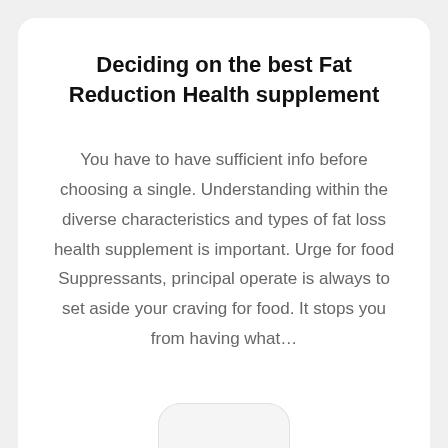Deciding on the best Fat Reduction Health supplement
You have to have sufficient info before choosing a single. Understanding within the diverse characteristics and types of fat loss health supplement is important. Urge for food Suppressants, principal operate is always to set aside your craving for food. It stops you from having what…